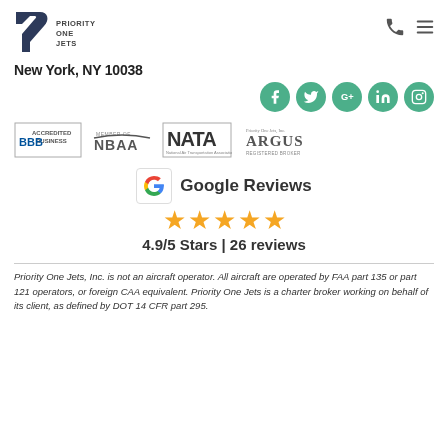[Figure (logo): Priority One Jets logo - dark blue stylized P shape with text PRIORITY ONE JETS]
New York, NY 10038
[Figure (infographic): Social media icons: Facebook, Twitter, Google+, LinkedIn, Instagram - green circles]
[Figure (infographic): Accreditation badges: BBB Accredited Business, NBAA, NATA, Argus Registered Broker]
[Figure (infographic): Google Reviews section with Google G logo, 5 gold stars, rating 4.9/5 Stars | 26 reviews]
Priority One Jets, Inc. is not an aircraft operator. All aircraft are operated by FAA part 135 or part 121 operators, or foreign CAA equivalent. Priority One Jets is a charter broker working on behalf of its client, as defined by DOT 14 CFR part 295.